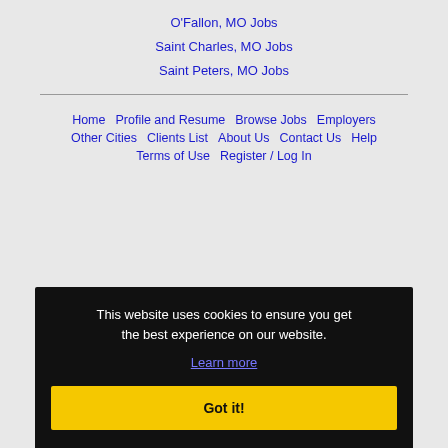O'Fallon, MO Jobs
Saint Charles, MO Jobs
Saint Peters, MO Jobs
Home | Profile and Resume | Browse Jobs | Employers | Other Cities | Clients List | About Us | Contact Us | Help | Terms of Use | Register / Log In
This website uses cookies to ensure you get the best experience on our website.
Learn more
Got it!